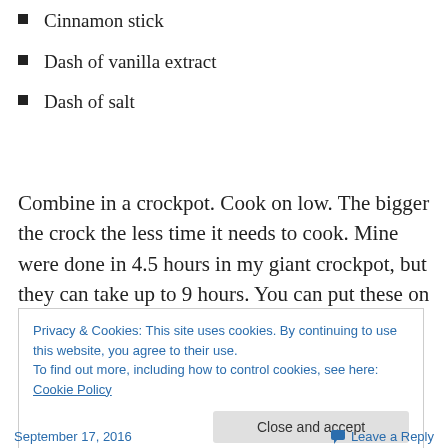Cinnamon stick
Dash of vanilla extract
Dash of salt
Combine in a crockpot. Cook on low. The bigger the crock the less time it needs to cook. Mine were done in 4.5 hours in my giant crockpot, but they can take up to 9 hours. You can put these on to cook overnight but make
Privacy & Cookies: This site uses cookies. By continuing to use this website, you agree to their use.
To find out more, including how to control cookies, see here: Cookie Policy
September 17, 2016    Leave a Reply